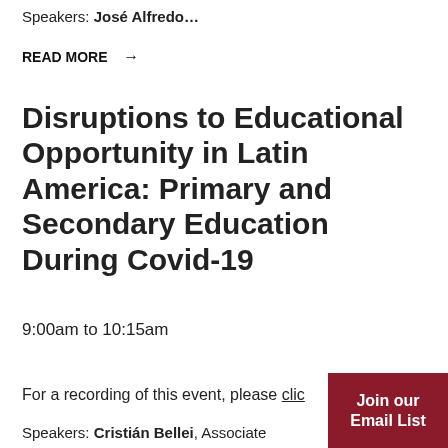Speakers: José Alfredo…
READ MORE →
Disruptions to Educational Opportunity in Latin America: Primary and Secondary Education During Covid-19
9:00am to 10:15am
For a recording of this event, please clic…
Speakers: Cristián Bellei, Associate…
Join our Email List